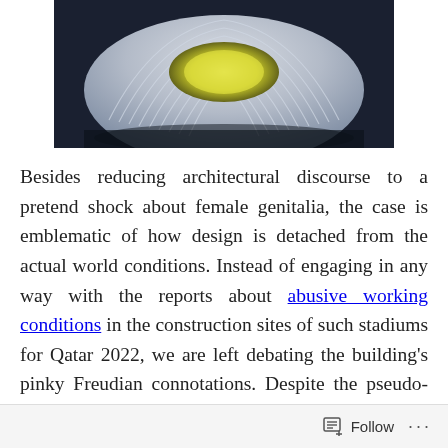[Figure (photo): Aerial/render photograph of a futuristic stadium with white flowing curved ribbed structure and a glowing yellow-green interior field, dark background, likely the Al Wakrah Stadium in Qatar.]
Besides reducing architectural discourse to a pretend shock about female genitalia, the case is emblematic of how design is detached from the actual world conditions. Instead of engaging in any way with the reports about abusive working conditions in the construction sites of such stadiums for Qatar 2022, we are left debating the building's pinky Freudian connotations. Despite the pseudo-feminist debate it raised, a rather sad moment for design. It actually just flags detachment of both
Follow ···